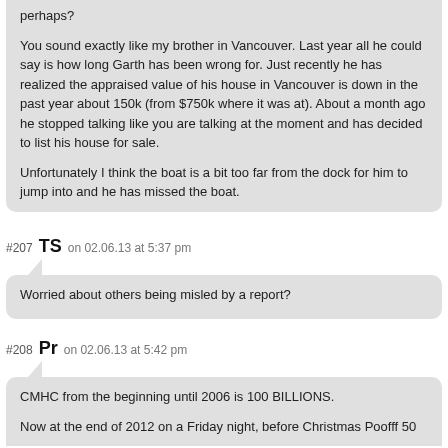perhaps?

You sound exactly like my brother in Vancouver. Last year all he could say is how long Garth has been wrong for. Just recently he has realized the appraised value of his house in Vancouver is down in the past year about 150k (from $750k where it was at). About a month ago he stopped talking like you are talking at the moment and has decided to list his house for sale.

Unfortunately I think the boat is a bit too far from the dock for him to jump into and he has missed the boat.
#207  TS  on 02.06.13 at 5:37 pm
Worried about others being misled by a report?
#208  Pr  on 02.06.13 at 5:42 pm
CMHC from the beginning until 2006 is 100 BILLIONS.

Now at the end of 2012 on a Friday night, before Christmas Poofff 50